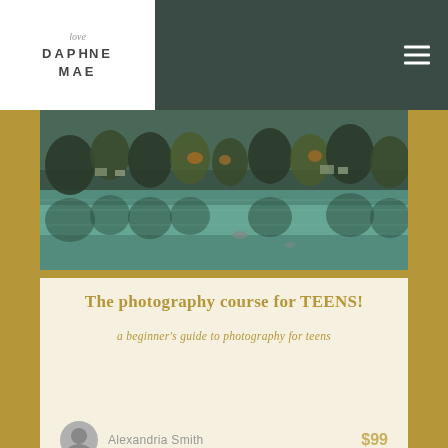love DAPHNE MAE [navigation logo and hamburger menu]
[Figure (photo): A lake scene with teal/green water reflecting trees and small buildings along the shoreline, autumn foliage visible]
The photography course for TEENS!
a beginner's guide to photography for teens
Alexandria Smith   $99
[Figure (photo): Partial view of a second course card with text 'the sacred maybe' visible at the bottom]